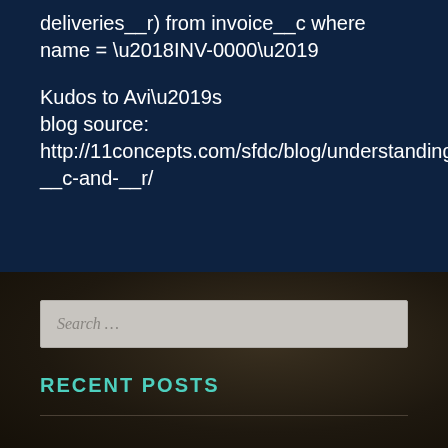deliveries__r) from invoice__c where name = ‘INV-0000’
Kudos to Avi’s blog source: http://11concepts.com/sfdc/blog/understanding-__c-and-__r/
Search …
RECENT POSTS